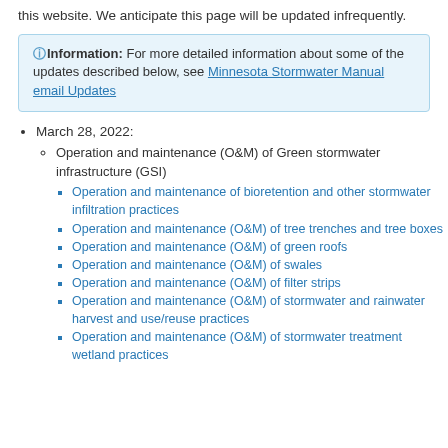this website. We anticipate this page will be updated infrequently.
Information: For more detailed information about some of the updates described below, see Minnesota Stormwater Manual email Updates
March 28, 2022:
Operation and maintenance (O&M) of Green stormwater infrastructure (GSI)
Operation and maintenance of bioretention and other stormwater infiltration practices
Operation and maintenance (O&M) of tree trenches and tree boxes
Operation and maintenance (O&M) of green roofs
Operation and maintenance (O&M) of swales
Operation and maintenance (O&M) of filter strips
Operation and maintenance (O&M) of stormwater and rainwater harvest and use/reuse practices
Operation and maintenance (O&M) of stormwater treatment wetland practices